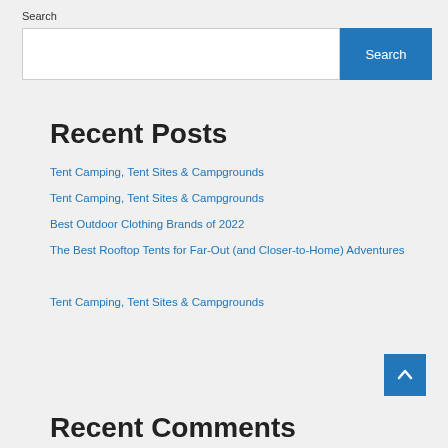Search
Search (input and button)
Recent Posts
Tent Camping, Tent Sites & Campgrounds
Tent Camping, Tent Sites & Campgrounds
Best Outdoor Clothing Brands of 2022
The Best Rooftop Tents for Far-Out (and Closer-to-Home) Adventures
Tent Camping, Tent Sites & Campgrounds
Recent Comments